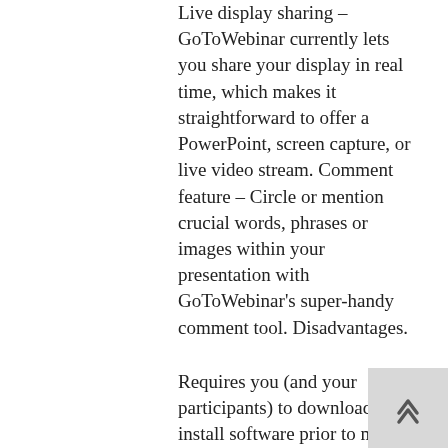Live display sharing – GoToWebinar currently lets you share your display in real time, which makes it straightforward to offer a PowerPoint, screen capture, or live video stream. Comment feature – Circle or mention crucial words, phrases or images within your presentation with GoToWebinar's super-handy comment tool. Disadvantages.

Requires you (and your participants) to download and install software prior to making use of the program. Requires making use of Java. Does not work with